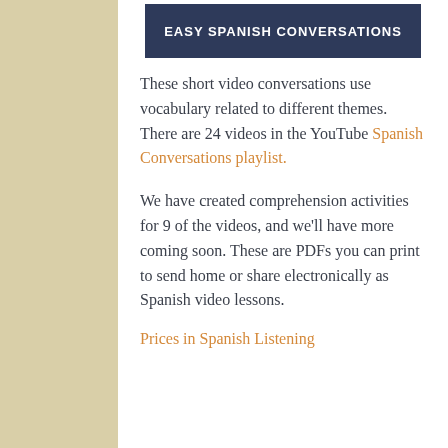[Figure (illustration): Banner image with dark blue background and white text reading EASY SPANISH CONVERSATIONS]
These short video conversations use vocabulary related to different themes. There are 24 videos in the YouTube Spanish Conversations playlist.
We have created comprehension activities for 9 of the videos, and we’ll have more coming soon. These are PDFs you can print to send home or share electronically as Spanish video lessons.
Prices in Spanish Listening